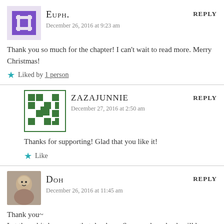EUPH. says:
December 26, 2016 at 9:23 am
Thank you so much for the chapter! I can't wait to read more. Merry Christmas!
Liked by 1 person
ZAZAJUNNIE says:
December 27, 2016 at 2:50 am
Thanks for supporting! Glad that you like it!
Like
DOH says:
December 26, 2016 at 11:45 am
Thank you~
Let those bitches marry that dumbass. See on whose back will he manage to climb to be an Emperor. Ha